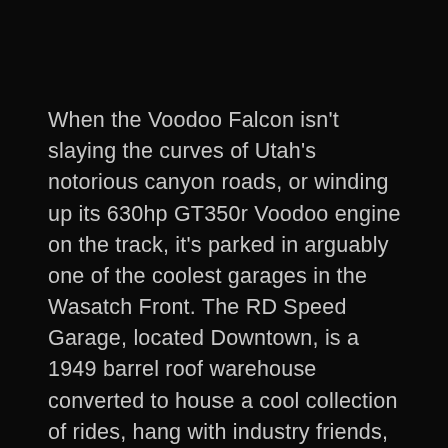When the Voodoo Falcon isn't slaying the curves of Utah's notorious canyon roads, or winding up its 630hp GT350r Voodoo engine on the track, it's parked in arguably one of the coolest garages in the Wasatch Front. The RD Speed Garage, located Downtown, is a 1949 barrel roof warehouse converted to house a cool collection of rides, hang with industry friends, and of course the focal point, a top-of-the-line RaceDeck Garage Floor.